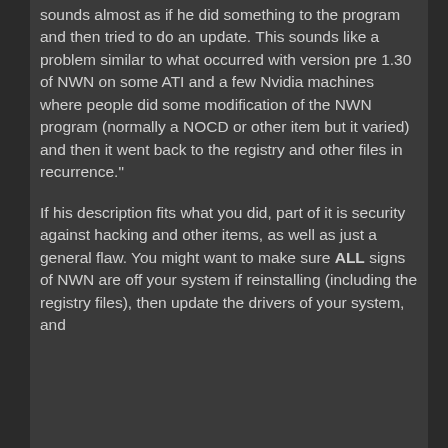sounds almost as if he did something to the program and then tried to do an update. This sounds like a problem similar to what occurred with version pre 1.30 of NWN on some ATI and a few Nvidia machines where people did some modification of the NWN program (normally a NOCD or other item but it varied) and then it went back to the registry and other files in recurrence."

If his description fits what you did, part of it is security against hacking and other items, as well as just a general flaw.  You might want to make sure ALL signs of NWN are off your system if reinstalling (including the registry files), then update the drivers of your system, and